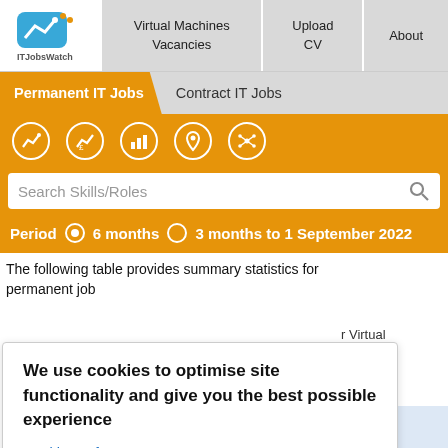ITJobsWatch | Virtual Machines Vacancies | Upload CV | About
Permanent IT Jobs | Contract IT Jobs
[Figure (screenshot): Orange toolbar with 5 icon buttons: trend, salary trend, bar chart, location pin, network]
Search Skills/Roles
Period  6 months  3 months to 1 September 2022
The following table provides summary statistics for permanent job
r Virtual
aries
e 6
period in
We use cookies to optimise site functionality and give you the best possible experience
Cookie Preferences
Accept
Same
riod 2020